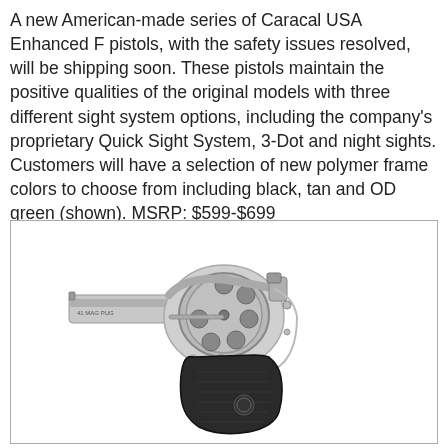A new American-made series of Caracal USA Enhanced F pistols, with the safety issues resolved, will be shipping soon. These pistols maintain the positive qualities of the original models with three different sight system options, including the company's proprietary Quick Sight System, 3-Dot and night sights. Customers will have a selection of new polymer frame colors to choose from including black, tan and OD green (shown). MSRP: $599-$699
[Figure (photo): A silver/stainless steel revolver with a black rubber grip, short barrel, and visible cylinder. Text on the barrel reads '41 MAG PUG'. The revolver is shown at an angle facing left.]